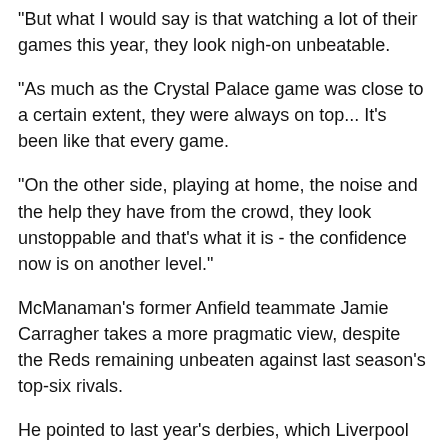"But what I would say is that watching a lot of their games this year, they look nigh-on unbeatable.
"As much as the Crystal Palace game was close to a certain extent, they were always on top... It's been like that every game.
"On the other side, playing at home, the noise and the help they have from the crowd, they look unstoppable and that's what it is - the confidence now is on another level."
McManaman's former Anfield teammate Jamie Carragher takes a more pragmatic view, despite the Reds remaining unbeaten against last season's top-six rivals.
He pointed to last year's derbies, which Liverpool won 1-0 at home with Divock Origi's late goal and drew 0-0